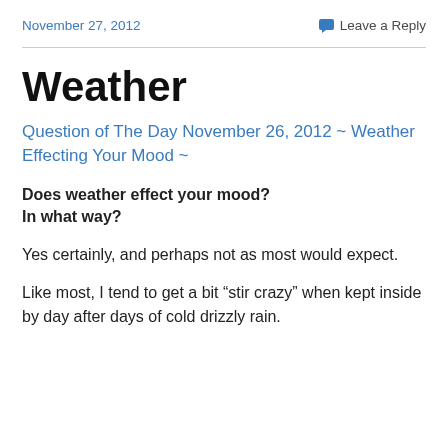November 27, 2012   Leave a Reply
Weather
Question of The Day November 26, 2012 ~ Weather Effecting Your Mood ~
Does weather effect your mood?
In what way?
Yes certainly, and perhaps not as most would expect.
Like most, I tend to get a bit “stir crazy” when kept inside by day after days of cold drizzly rain.